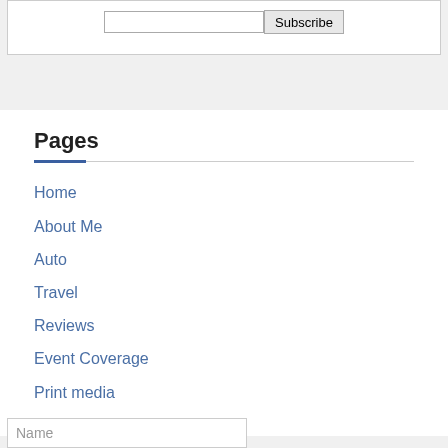[Figure (screenshot): Subscribe form area with text input and Subscribe button]
Pages
Home
About Me
Auto
Travel
Reviews
Event Coverage
Print media
[Figure (screenshot): Name input field at the bottom of the page]